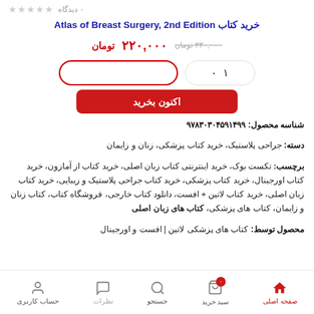۰ دیدگاه ☆☆☆☆☆
خرید کتاب Atlas of Breast Surgery, 2nd Edition
۲۲۰,۰۰۰ تومان  ~~۳۳۰,۰۰۰ تومان~~
شناسه محصول: ۹۷۸۳۰۳۰۴۵۹۱۴۹۹
دسته: جراحی پلاستیک، خرید کتاب پزشکی، زنان و زایمان
برچسب: تکست بوک، خرید اینترنتی کتاب زبان اصلی، خرید کتاب از آمازون، خرید کتاب اورجینال، خرید کتاب پزشکی، خرید کتاب جراحی پلاستیک و زیبایی، خرید کتاب زبان اصلی، خرید کتاب لاتین + افست، دانلود کتاب خارجی، فروشگاه کتاب، کتاب زنان و زایمان، کتاب های پزشکی، کتاب های زبان اصلی
محصول توسط: کتاب های پزشکی لاتین | افست و اورجینال
صفحه اصلی  جستجو  نظرات  سبد خرید  حساب کاربری